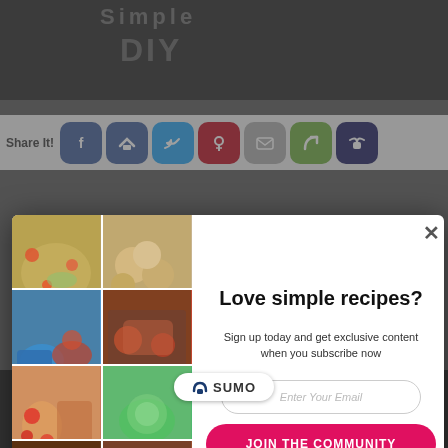[Figure (screenshot): Website screenshot showing a popup modal for a recipe email subscription. The modal contains a food photo collage on the left, and on the right: title 'Love simple recipes?', subtitle 'Sign up today and get exclusive content when you subscribe now', an email input field, a red 'JOIN THE COMMUNITY' button, and a 'NO THANKS' link. Background shows social share buttons and a dark website background. A Sumo badge appears at the bottom.]